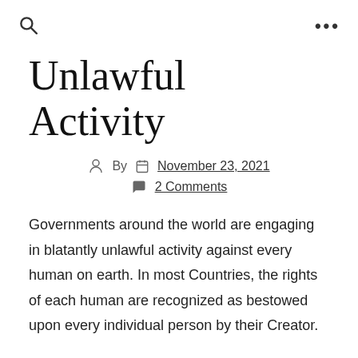🔍  •••
Unlawful Activity
By  November 23, 2021  2 Comments
Governments around the world are engaging in blatantly unlawful activity against every human on earth. In most Countries, the rights of each human are recognized as bestowed upon every individual person by their Creator.